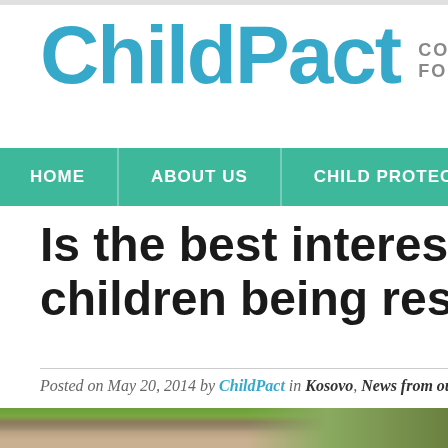ChildPact
COALITION FO
HOME | ABOUT US | CHILD PROTECTION INDEX | VIDE
Is the best interest of the al children being respected in
Posted on May 20, 2014 by ChildPact in Kosovo, News from our members //
[Figure (photo): Partial photo of a child outdoors with green and autumn-colored background]